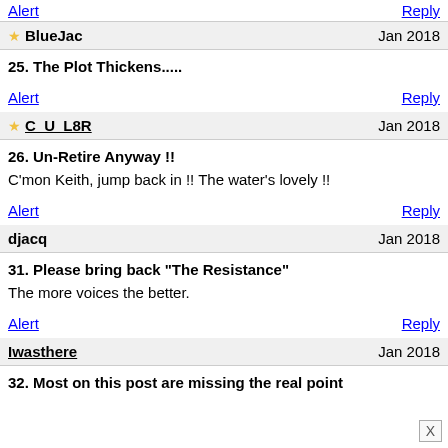Alert   Reply
BlueJac   Jan 2018
25. The Plot Thickens.....
Alert   Reply
C_U_L8R   Jan 2018
26. Un-Retire Anyway !!
C'mon Keith, jump back in !! The water's lovely !!
Alert   Reply
djacq   Jan 2018
31. Please bring back "The Resistance"
The more voices the better.
Alert   Reply
Iwasthere   Jan 2018
32. Most on this post are missing the real point